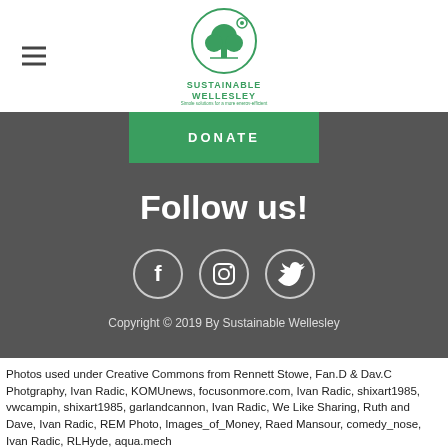[Figure (logo): Sustainable Wellesley logo with green tree icon and text]
DONATE
Follow us!
[Figure (illustration): Social media icons: Facebook, Instagram, Twitter in circle outlines]
Copyright © 2019 By Sustainable Wellesley
Photos used under Creative Commons from Rennett Stowe, Fan.D & Dav.C Photgraphy, Ivan Radic, KOMUnews, focusonmore.com, Ivan Radic, shixart1985, vwcampin, shixart1985, garlandcannon, Ivan Radic, We Like Sharing, Ruth and Dave, Ivan Radic, REM Photo, Images_of_Money, Raed Mansour, comedy_nose, Ivan Radic, RLHyde, aqua.mech